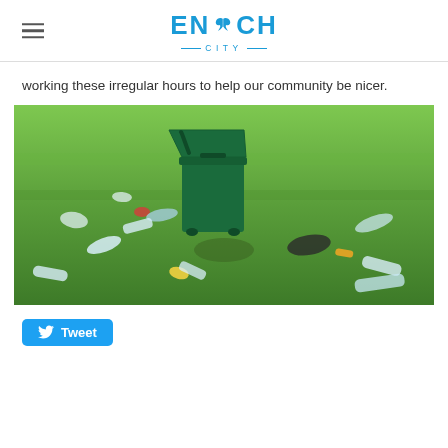ENOCH CITY
working these irregular hours to help our community be nicer.
[Figure (photo): A green recycling/waste bin with its lid open, surrounded by scattered litter (plastic bottles, plastic bags, other trash) on a green grass field.]
Tweet